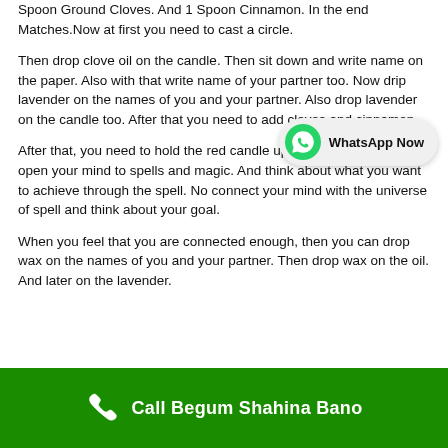Spoon Ground Cloves. And 1 Spoon Cinnamon. In the end Matches.Now at first you need to cast a circle.
Then drop clove oil on the candle. Then sit down and write name on the paper. Also with that write name of your partner too. Now drip lavender on the names of you and your partner. Also drop lavender on the candle too. After that you need to add cloves and cinnamon.
After that, you need to hold the red candle up with right hand. And open your mind to spells and magic. And think about what you want to achieve through the spell. No connect your mind with the universe of spell and think about your goal.
When you feel that you are connected enough, then you can drop wax on the names of you and your partner. Then drop wax on the oil. And later on the lavender.
[Figure (other): WhatsApp Now button/badge overlay]
Call Begum Shahina Bano